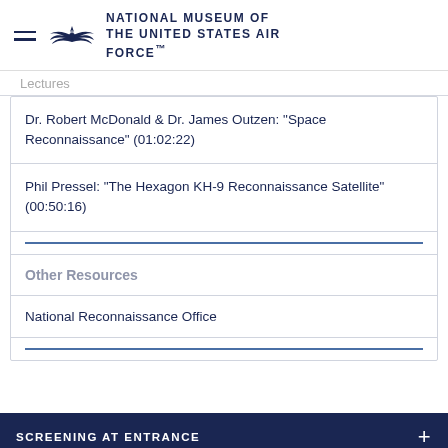NATIONAL MUSEUM OF THE UNITED STATES AIR FORCE™
Lectures
Dr. Robert McDonald & Dr. James Outzen: "Space Reconnaissance" (01:02:22)
Phil Pressel: "The Hexagon KH-9 Reconnaissance Satellite" (00:50:16)
Other Resources
National Reconnaissance Office
SCREENING AT ENTRANCE
PROHIBITED ITEMS